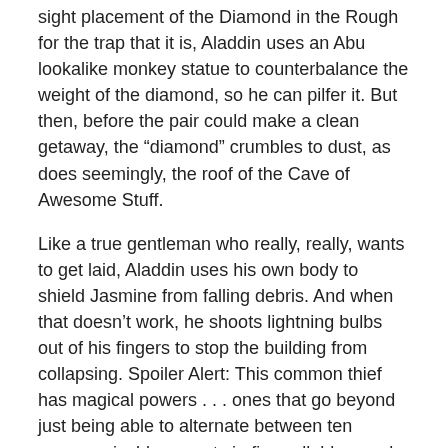sight placement of the Diamond in the Rough for the trap that it is, Aladdin uses an Abu lookalike monkey statue to counterbalance the weight of the diamond, so he can pilfer it. But then, before the pair could make a clean getaway, the “diamond” crumbles to dust, as does seemingly, the roof of the Cave of Awesome Stuff.
Like a true gentleman who really, really, wants to get laid, Aladdin uses his own body to shield Jasmine from falling debris. And when that doesn’t work, he shoots lightning bulbs out of his fingers to stop the building from collapsing. Spoiler Alert: This common thief has magical powers . . . ones that go beyond just being able to alternate between ten unrecognizable accents in five syllables, and that thing he did with the apple earlier in the episode.
[Figure (photo): Broken image placeholder with alt text 'apple-roll']